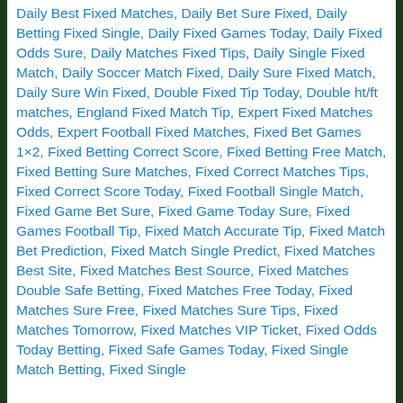Daily Best Fixed Matches, Daily Bet Sure Fixed, Daily Betting Fixed Single, Daily Fixed Games Today, Daily Fixed Odds Sure, Daily Matches Fixed Tips, Daily Single Fixed Match, Daily Soccer Match Fixed, Daily Sure Fixed Match, Daily Sure Win Fixed, Double Fixed Tip Today, Double ht/ft matches, England Fixed Match Tip, Expert Fixed Matches Odds, Expert Football Fixed Matches, Fixed Bet Games 1×2, Fixed Betting Correct Score, Fixed Betting Free Match, Fixed Betting Sure Matches, Fixed Correct Matches Tips, Fixed Correct Score Today, Fixed Football Single Match, Fixed Game Bet Sure, Fixed Game Today Sure, Fixed Games Football Tip, Fixed Match Accurate Tip, Fixed Match Bet Prediction, Fixed Match Single Predict, Fixed Matches Best Site, Fixed Matches Best Source, Fixed Matches Double Safe Betting, Fixed Matches Free Today, Fixed Matches Sure Free, Fixed Matches Sure Tips, Fixed Matches Tomorrow, Fixed Matches VIP Ticket, Fixed Odds Today Betting, Fixed Safe Games Today, Fixed Single Match Betting, Fixed Single